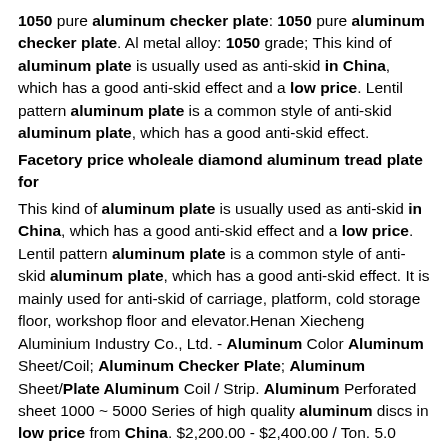1050 pure aluminum checker plate: 1050 pure aluminum checker plate. Al metal alloy: 1050 grade; This kind of aluminum plate is usually used as anti-skid in China, which has a good anti-skid effect and a low price. Lentil pattern aluminum plate is a common style of anti-skid aluminum plate, which has a good anti-skid effect. Facetory price wholeale diamond aluminum tread plate for This kind of aluminum plate is usually used as anti-skid in China, which has a good anti-skid effect and a low price. Lentil pattern aluminum plate is a common style of anti-skid aluminum plate, which has a good anti-skid effect. It is mainly used for anti-skid of carriage, platform, cold storage floor, workshop floor and elevator.Henan Xiecheng Aluminium Industry Co., Ltd. - Aluminum Color Aluminum Sheet/Coil; Aluminum Checker Plate; Aluminum Sheet/Plate Aluminum Coil / Strip. Aluminum Perforated sheet 1000 ~ 5000 Series of high quality aluminum discs in low price from China. $2,200.00 - $2,400.00 / Ton. 5.0 Tons Hot sale most popular 1050 h24 aluminum alloy coil with the lowest price. $2,000.00 - $2,400.00 / Ton. 1Looking for 1050 Aluminum Plate Suppliers? Buy 1050 Feb 07, 2019 AA 1050 Aluminium Plates Available for Sale in Size Range of 6mm to 350 mm, with width of 1000 mm to 2500 mm, or custom sizes. Aluminium sheets available in size range of 0.2mm to 5mm. If you